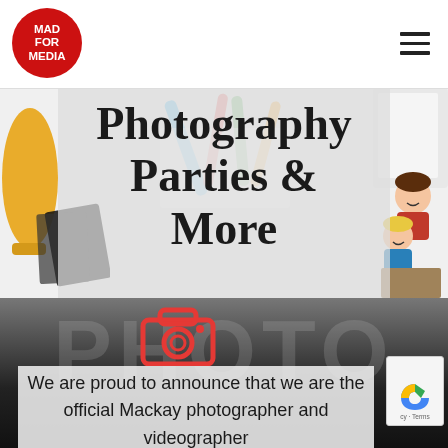[Figure (logo): Mad For Media circular red logo with white text]
[Figure (illustration): Hamburger/menu icon (three horizontal lines) in top right corner]
[Figure (illustration): Decorative clipart background with scissors, photos, pencils, children illustration]
Photography Parties & More
[Figure (illustration): Red camera icon/symbol]
We are proud to announce that we are the official Mackay photographer and videographer